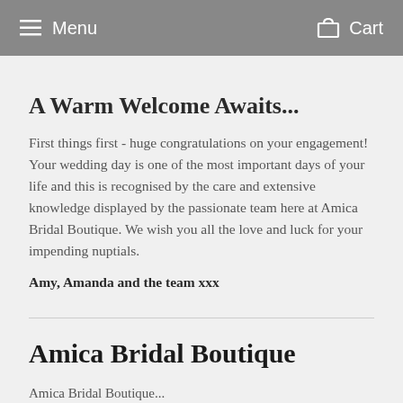Menu   Cart
A Warm Welcome Awaits...
First things first - huge congratulations on your engagement! Your wedding day is one of the most important days of your life and this is recognised by the care and extensive knowledge displayed by the passionate team here at Amica Bridal Boutique. We wish you all the love and luck for your impending nuptials.
Amy, Amanda and the team xxx
Amica Bridal Boutique
Amica Bridal Boutique...